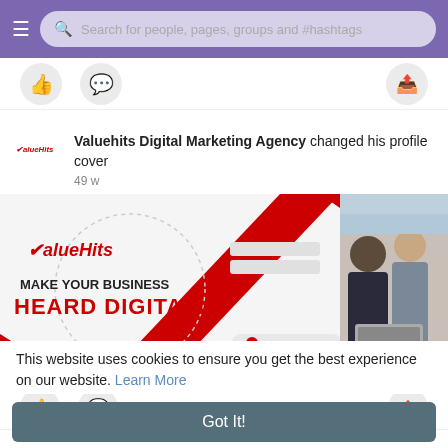Search for people, pages, groups and #hashtags
Valuehits Digital Marketing Agency changed his profile cover
49 w
[Figure (illustration): ValueHits Digital Marketing Agency banner with text 'MAKE YOUR BUSINESS HEARD DIGITALLY' in red and black on white background with red geometric shapes, and a photo of three businessmen looking at a laptop on the right side.]
This website uses cookies to ensure you get the best experience on our website. Learn More
Got It!